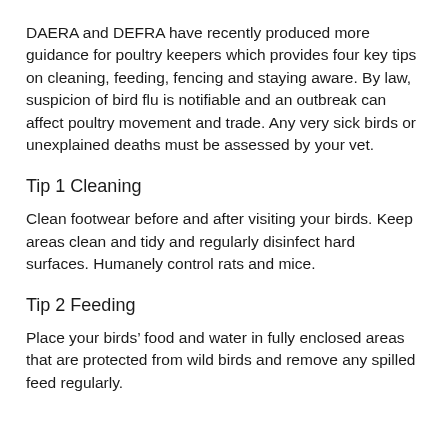DAERA and DEFRA have recently produced more guidance for poultry keepers which provides four key tips on cleaning, feeding, fencing and staying aware. By law, suspicion of bird flu is notifiable and an outbreak can affect poultry movement and trade. Any very sick birds or unexplained deaths must be assessed by your vet.
Tip 1 Cleaning
Clean footwear before and after visiting your birds. Keep areas clean and tidy and regularly disinfect hard surfaces. Humanely control rats and mice.
Tip 2 Feeding
Place your birds’ food and water in fully enclosed areas that are protected from wild birds and remove any spilled feed regularly.